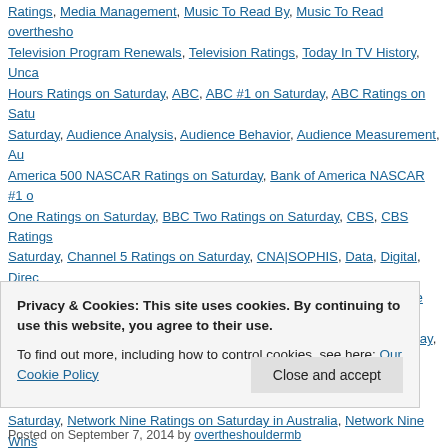Ratings, Media Management, Music To Read By, Music To Read overthesho... Television Program Renewals, Television Ratings, Today In TV History, Unca... Hours Ratings on Saturday, ABC, ABC #1 on Saturday, ABC Ratings on Satu... Saturday, Audience Analysis, Audience Behavior, Audience Measurement, Au... America 500 NASCAR Ratings on Saturday, Bank of America NASCAR #1 o... One Ratings on Saturday, BBC Two Ratings on Saturday, CBS, CBS Ratings... Saturday, Channel 5 Ratings on Saturday, CNA|SOPHIS, Data, Digital, Direc... Gone Girl #1 at the Box Office This Weekend, Gone Girl Leading At the Box O... Weekend, ITV, ITV Ratings on Saturday, ITV3, ITV3 Ratings on Saturday, La... Management, MLB NCLS Ratings on Saturday, Mobile, NBC, NBC Ratings o... Saturday, Network Nine Ratings on Saturday in Australia, Network Nine Wins... Interest Ratings on Saturday, San Francisco Giants Ratings on Saturday, Sat... Saturday, SBS Ratings in Australia on Saturday, Seve News Saturday Rating... Saturday, Seven News Ratings on Saturday, Seven's V8 Super cars Round 1... Australia on Saturday, St Louis Cardinals Ratings on Saturday, Strictly Come... Come Dancing Ratings in the UK on Saturday, Television, Television Ratings... Saturday, The Block Glasshouse #1 in Australia on Sunday, The Mysteries of... Plainclothesman, The X Factor UK Ratings on Saturday, Today In TV History,...
Privacy & Cookies: This site uses cookies. By continuing to use this website, you agree to their use.
To find out more, including how to control cookies, see here: Our Cookie Policy
Posted on September 7, 2014 by overtheshouldermb